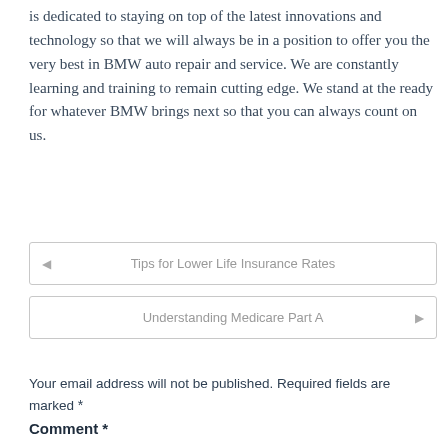is dedicated to staying on top of the latest innovations and technology so that we will always be in a position to offer you the very best in BMW auto repair and service. We are constantly learning and training to remain cutting edge. We stand at the ready for whatever BMW brings next so that you can always count on us.
◄ Tips for Lower Life Insurance Rates
Understanding Medicare Part A ►
Your email address will not be published. Required fields are marked *
Comment *